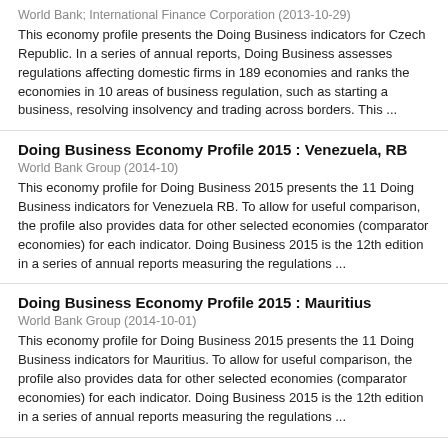World Bank; International Finance Corporation (2013-10-29)
This economy profile presents the Doing Business indicators for Czech Republic. In a series of annual reports, Doing Business assesses regulations affecting domestic firms in 189 economies and ranks the economies in 10 areas of business regulation, such as starting a business, resolving insolvency and trading across borders. This ...
Doing Business Economy Profile 2015 : Venezuela, RB
World Bank Group (2014-10)
This economy profile for Doing Business 2015 presents the 11 Doing Business indicators for Venezuela RB. To allow for useful comparison, the profile also provides data for other selected economies (comparator economies) for each indicator. Doing Business 2015 is the 12th edition in a series of annual reports measuring the regulations ...
Doing Business Economy Profile 2015 : Mauritius
World Bank Group (2014-10-01)
This economy profile for Doing Business 2015 presents the 11 Doing Business indicators for Mauritius. To allow for useful comparison, the profile also provides data for other selected economies (comparator economies) for each indicator. Doing Business 2015 is the 12th edition in a series of annual reports measuring the regulations ...